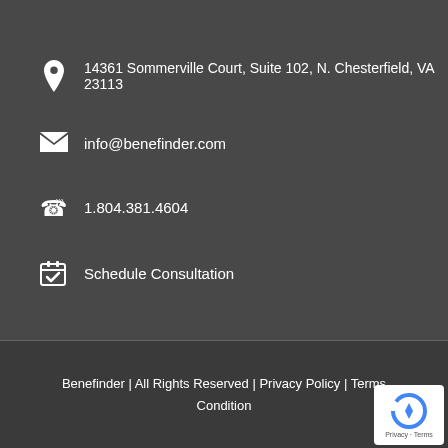14361 Sommerville Court, Suite 102, N. Chesterfield, VA 23113
info@benefinder.com
1.804.381.4604
Schedule Consultation
Benefinder | All Rights Reserved | Privacy Policy | Terms Condition